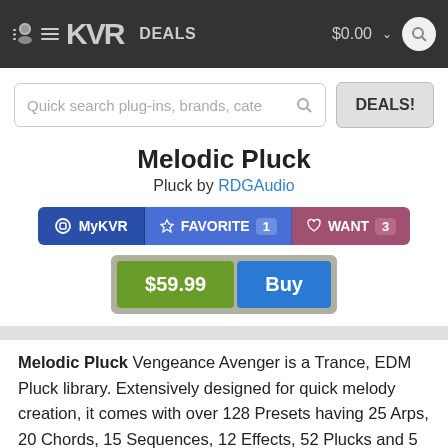KVR DEALS $0.00
Quick search plug-ins, brands, cate
Melodic Pluck
Pluck by RDGAudio
MyKVR FAVORITE 1 WANT 3
$59.99 Buy
Melodic Pluck Vengeance Avenger is a Trance, EDM Pluck library. Extensively designed for quick melody creation, it comes with over 128 Presets having 25 Arps, 20 Chords, 15 Sequences, 12 Effects, 52 Plucks and 5 Pads. It also comes with 12 Drum Kits, 12 Drum Sequences, 27 Re-sampler, 24 Wave Shapes, 16